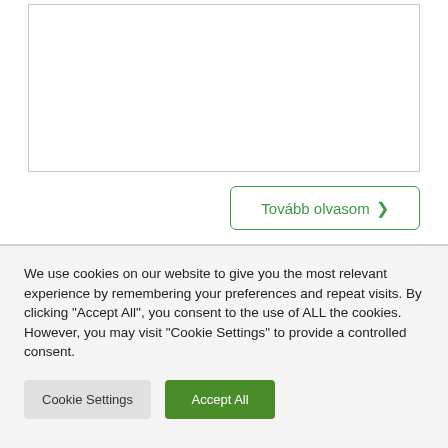[Figure (other): A white content box with a thin gray border, mostly empty (cropped page content area)]
Tovább olvasom >
We use cookies on our website to give you the most relevant experience by remembering your preferences and repeat visits. By clicking "Accept All", you consent to the use of ALL the cookies. However, you may visit "Cookie Settings" to provide a controlled consent.
Cookie Settings
Accept All